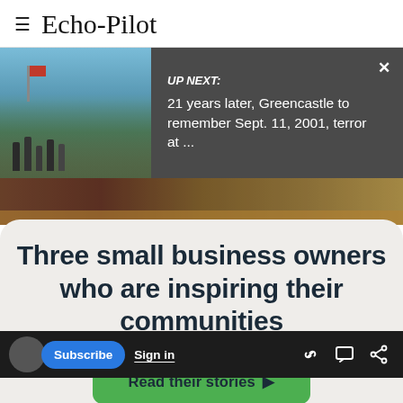Echo-Pilot
[Figure (screenshot): Video thumbnail showing people walking on a street with flags, and an 'UP NEXT' overlay panel with dark background showing text: 'UP NEXT: 21 years later, Greencastle to remember Sept. 11, 2001, terror at ...' with an X close button]
Three small business owners who are inspiring their communities
Read their stories ▶
Subscribe  Sign in